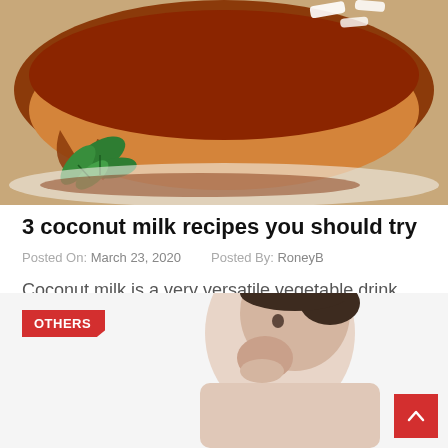[Figure (photo): Close-up photo of a caramel flan dessert with caramel sauce and mint leaves on a white plate]
3 coconut milk recipes you should try
Posted On: March 23, 2020   Posted By: RoneyB
Coconut milk is a very versatile vegetable drink that can replace dairy in various recipes.
[Figure (photo): Photo of a woman looking surprised, with OTHERS badge overlay in red]